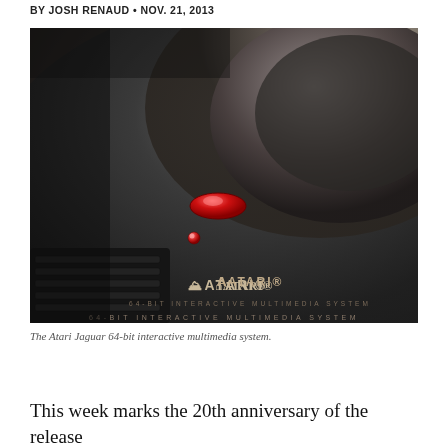BY JOSH RENAUD • NOV. 21, 2013
[Figure (photo): Close-up photograph of the Atari Jaguar 64-bit interactive multimedia system console, showing its dark grey/black surface with red oval power button, small red LED indicator light, Atari logo, and curved design. Text on the console reads '64-BIT INTERACTIVE MULTIMEDIA SYSTEM'.]
The Atari Jaguar 64-bit interactive multimedia system.
This week marks the 20th anniversary of the release